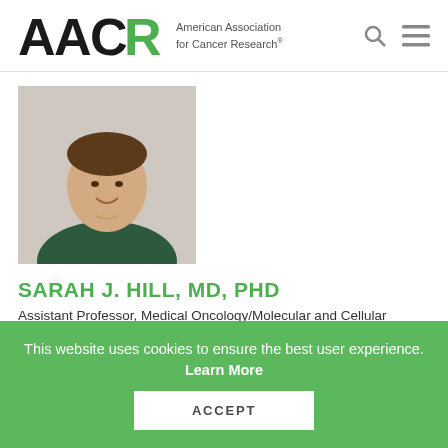AACR – American Association for Cancer Research
[Figure (photo): Headshot photo of Sarah J. Hill, MD, PhD – a woman with hair pulled back, smiling, wearing a dark green top and a small necklace, against a light background.]
SARAH J. HILL, MD, PHD
Assistant Professor, Medical Oncology/Molecular and Cellular Oncology
Dana-Farber Cancer Institute, Boston, Massachusetts
Dissecting mechanisms of NK cell dysfunction and re-
This website uses cookies to ensure the best user experience. Learn More